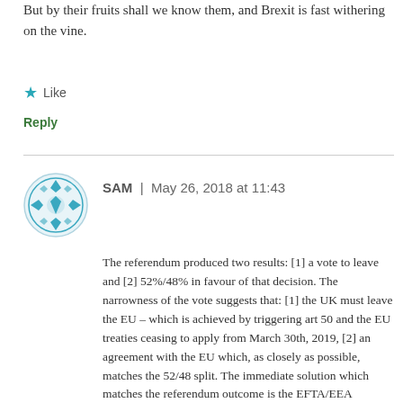But by their fruits shall we know them, and Brexit is fast withering on the vine.
Like
Reply
SAM | May 26, 2018 at 11:43
The referendum produced two results: [1] a vote to leave and [2] 52%/48% in favour of that decision. The narrowness of the vote suggests that: [1] the UK must leave the EU – which is achieved by triggering art 50 and the EU treaties ceasing to apply from March 30th, 2019, [2] an agreement with the EU which, as closely as possible, matches the 52/48 split. The immediate solution which matches the referendum outcome is the EFTA/EEA solution. It has been argued that this demands freedom of movement – this is true, but it only FOM for worker who already have a job offer, not for EU citizens in